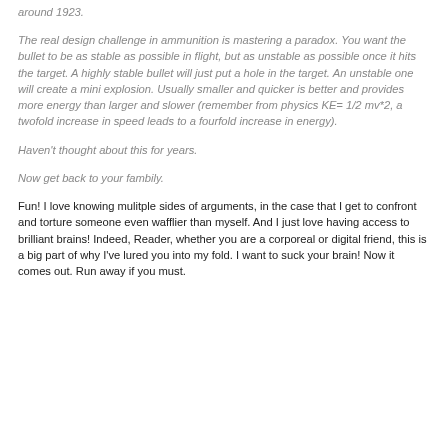around 1923.
The real design challenge in ammunition is mastering a paradox. You want the bullet to be as stable as possible in flight, but as unstable as possible once it hits the target. A highly stable bullet will just put a hole in the target. An unstable one will create a mini explosion. Usually smaller and quicker is better and provides more energy than larger and slower (remember from physics KE= 1/2 mv*2, a twofold increase in speed leads to a fourfold increase in energy).
Haven't thought about this for years.
Now get back to your fambily.
Fun! I love knowing mulitple sides of arguments, in the case that I get to confront and torture someone even wafflier than myself. And I just love having access to brilliant brains! Indeed, Reader, whether you are a corporeal or digital friend, this is a big part of why I've lured you into my fold. I want to suck your brain! Now it comes out. Run away if you must.